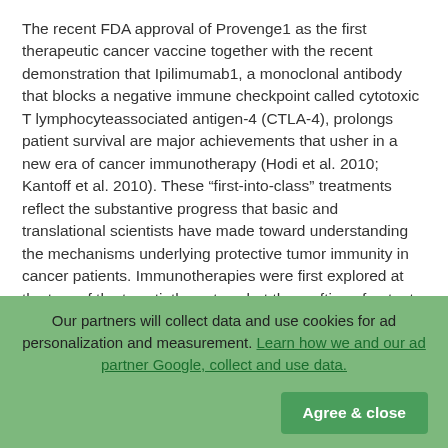The recent FDA approval of Provenge1 as the first therapeutic cancer vaccine together with the recent demonstration that Ipilimumab1, a monoclonal antibody that blocks a negative immune checkpoint called cytotoxic T lymphocyteassociated antigen-4 (CTLA-4), prolongs patient survival are major achievements that usher in a new era of cancer immunotherapy (Hodi et al. 2010; Kantoff et al. 2010). These “first-into-class” treatments reflect the substantive progress that basic and translational scientists have made toward understanding the mechanisms underlying protective tumor immunity in cancer patients. Immunotherapies were first explored at the turn of the twentieth century, but the crafting of potent treatments required more detailed knowledge of how the immune system responds to cancer. Advances in genetic, cellular, and biochemical technologies have begun to yield this critical information, which has stimulated the development and widespread application of monoclonal antibodies and bone marrow transplantation as highly beneficial therapies for many solid and hematologic
Our partners will collect data and use cookies for ad personalization and measurement. Learn how we and our ad partner Google, collect and use data.
Agree & close